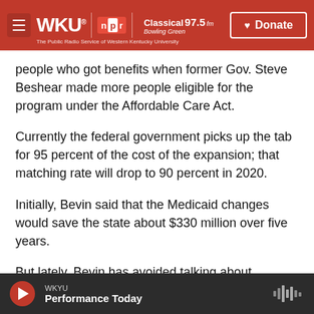WKU NPR | Classical 97.5 fm Bowling Green — The Public Radio Service of Western Kentucky University | Donate
people who got benefits when former Gov. Steve Beshear made more people eligible for the program under the Affordable Care Act.
Currently the federal government picks up the tab for 95 percent of the cost of the expansion; that matching rate will drop to 90 percent in 2020.
Initially, Bevin said that the Medicaid changes would save the state about $330 million over five years.
But lately, Bevin has avoided talking about whether
WKYU — Performance Today